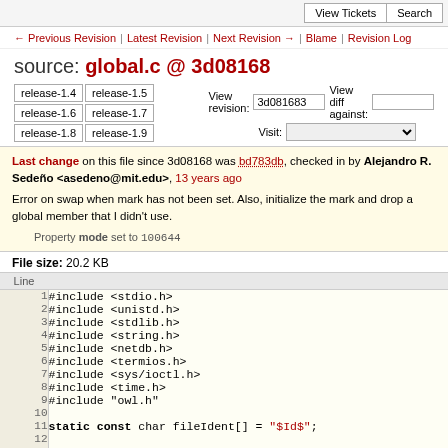View Tickets | Search
← Previous Revision | Latest Revision | Next Revision → | Blame | Revision Log
source: global.c @ 3d08168
release-1.4  release-1.5  release-1.6  release-1.7  release-1.8  release-1.9   View revision: 3d081683   View diff against:   Visit:
Last change on this file since 3d08168 was bd783db, checked in by Alejandro R. Sedeño <asedeno@mit.edu>, 13 years ago
Error on swap when mark has not been set. Also, initialize the mark and drop a global member that I didn't use.
Property mode set to 100644
File size: 20.2 KB
| Line |  |
| --- | --- |
| 1 | #include <stdio.h> |
| 2 | #include <unistd.h> |
| 3 | #include <stdlib.h> |
| 4 | #include <string.h> |
| 5 | #include <netdb.h> |
| 6 | #include <termios.h> |
| 7 | #include <sys/ioctl.h> |
| 8 | #include <time.h> |
| 9 | #include "owl.h" |
| 10 |  |
| 11 | static const char fileIdent[] = "$Id$"; |
| 12 |  |
| 13 | #ifndef MAXHOSTNAMELEN |
| 14 | #define MAXHOSTNAMELEN 256 |
| 15 | #endif |